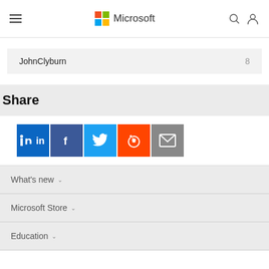Microsoft
JohnClyburn  8
Share
[Figure (infographic): Social share buttons: LinkedIn, Facebook, Twitter, Reddit, Email]
What's new
Microsoft Store
Education